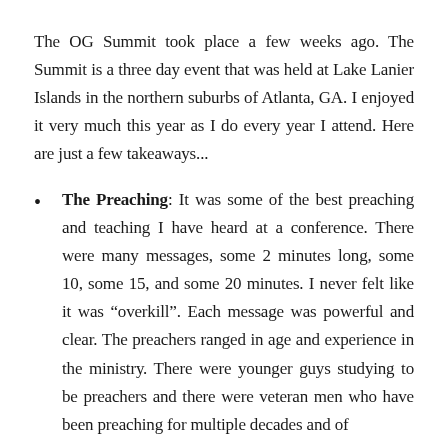The OG Summit took place a few weeks ago. The Summit is a three day event that was held at Lake Lanier Islands in the northern suburbs of Atlanta, GA. I enjoyed it very much this year as I do every year I attend. Here are just a few takeaways...
The Preaching: It was some of the best preaching and teaching I have heard at a conference. There were many messages, some 2 minutes long, some 10, some 15, and some 20 minutes. I never felt like it was “overkill”. Each message was powerful and clear. The preachers ranged in age and experience in the ministry. There were younger guys studying to be preachers and there were veteran men who have been preaching for multiple decades and of